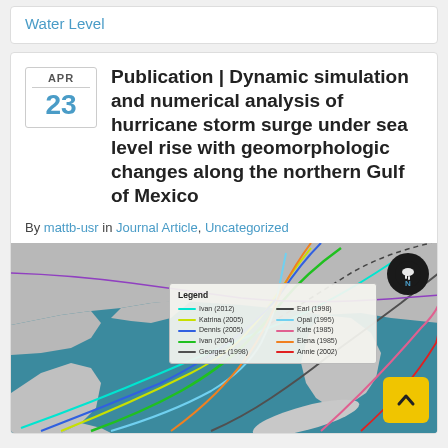Water Level
Publication | Dynamic simulation and numerical analysis of hurricane storm surge under sea level rise with geomorphologic changes along the northern Gulf of Mexico
By mattb-usr in Journal Article, Uncategorized
[Figure (map): Map of the Gulf of Mexico and southeastern United States showing hurricane tracks with a legend identifying multiple named storms including Ivan (2012), Katrina (2005), Dennis (2005), Ivan (2004), Georges (1998), Earl (1998), Opal (1995), Kate (1985), Elena (1985), Annie (2002). Colored lines show different storm tracks converging on the Gulf Coast region.]